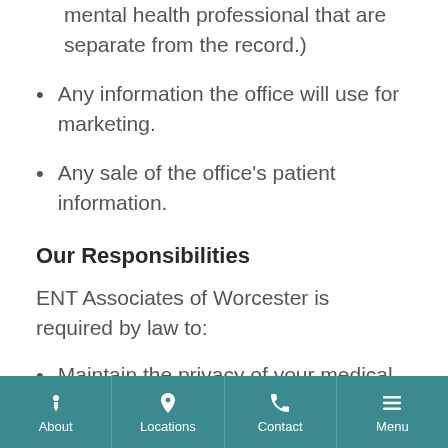mental health professional that are separate from the record.)
Any information the office will use for marketing.
Any sale of the office’s patient information.
Our Responsibilities
ENT Associates of Worcester is required by law to:
Maintain the privacy of your medical
About  Locations  Contact  Menu